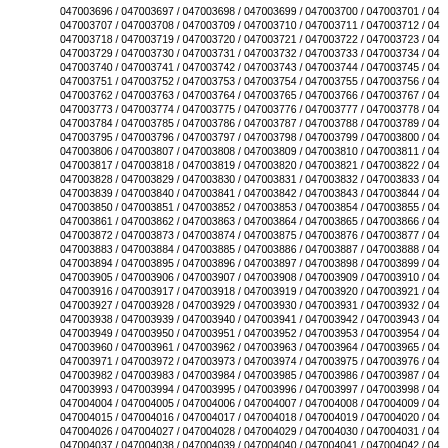047003696 / 047003697 / 047003698 / 047003699 / 047003700 / 047003701 / 04...
047003707 / 047003708 / 047003709 / 047003710 / 047003711 / 047003712 / 04...
047003718 / 047003719 / 047003720 / 047003721 / 047003722 / 047003723 / 04...
047003729 / 047003730 / 047003731 / 047003732 / 047003733 / 047003734 / 04...
047003740 / 047003741 / 047003742 / 047003743 / 047003744 / 047003745 / 04...
047003751 / 047003752 / 047003753 / 047003754 / 047003755 / 047003756 / 04...
047003762 / 047003763 / 047003764 / 047003765 / 047003766 / 047003767 / 04...
047003773 / 047003774 / 047003775 / 047003776 / 047003777 / 047003778 / 04...
047003784 / 047003785 / 047003786 / 047003787 / 047003788 / 047003789 / 04...
047003795 / 047003796 / 047003797 / 047003798 / 047003799 / 047003800 / 04...
047003806 / 047003807 / 047003808 / 047003809 / 047003810 / 047003811 / 04...
047003817 / 047003818 / 047003819 / 047003820 / 047003821 / 047003822 / 04...
047003828 / 047003829 / 047003830 / 047003831 / 047003832 / 047003833 / 04...
047003839 / 047003840 / 047003841 / 047003842 / 047003843 / 047003844 / 04...
047003850 / 047003851 / 047003852 / 047003853 / 047003854 / 047003855 / 04...
047003861 / 047003862 / 047003863 / 047003864 / 047003865 / 047003866 / 04...
047003872 / 047003873 / 047003874 / 047003875 / 047003876 / 047003877 / 04...
047003883 / 047003884 / 047003885 / 047003886 / 047003887 / 047003888 / 04...
047003894 / 047003895 / 047003896 / 047003897 / 047003898 / 047003899 / 04...
047003905 / 047003906 / 047003907 / 047003908 / 047003909 / 047003910 / 04...
047003916 / 047003917 / 047003918 / 047003919 / 047003920 / 047003921 / 04...
047003927 / 047003928 / 047003929 / 047003930 / 047003931 / 047003932 / 04...
047003938 / 047003939 / 047003940 / 047003941 / 047003942 / 047003943 / 04...
047003949 / 047003950 / 047003951 / 047003952 / 047003953 / 047003954 / 04...
047003960 / 047003961 / 047003962 / 047003963 / 047003964 / 047003965 / 04...
047003971 / 047003972 / 047003973 / 047003974 / 047003975 / 047003976 / 04...
047003982 / 047003983 / 047003984 / 047003985 / 047003986 / 047003987 / 04...
047003993 / 047003994 / 047003995 / 047003996 / 047003997 / 047003998 / 04...
047004004 / 047004005 / 047004006 / 047004007 / 047004008 / 047004009 / 04...
047004015 / 047004016 / 047004017 / 047004018 / 047004019 / 047004020 / 04...
047004026 / 047004027 / 047004028 / 047004029 / 047004030 / 047004031 / 04...
047004037 / 047004038 / 047004039 / 047004040 / 047004041 / 047004042 / 04...
047004048 / 047004049 / 047004050 / 047004051 / 047004052 / 047004053 / 04...
047004059 / 047004060 / 047004061 / 047004062 / 047004063 / 047004064 / 04...
047004070 / 047004071 / 047004072 / 047004073 / 047004074 / 047004075 / 04...
047004081 / 047004082 / 047004083 / 047004084 / 047004085 / 047004086 / 04...
047004092 / 047004093 / 047004094 / 047004095 / 047004096 / 047004097 / 04...
047004103 / 047004104 / 047004105 / 047004106 / 047004107 / 047004108 / 04...